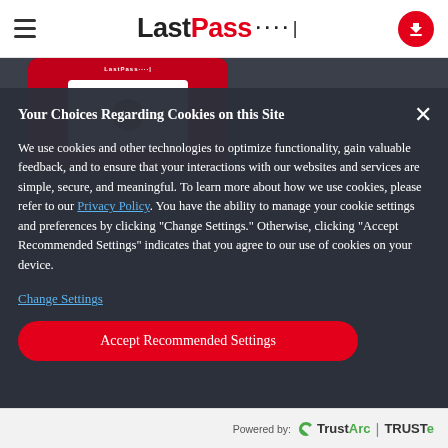LastPass (logo and navigation header)
[Figure (screenshot): LastPass website screenshot partially visible behind cookie consent overlay, showing a red card UI element with a profile avatar on a dark background]
Your Choices Regarding Cookies on this Site
We use cookies and other technologies to optimize functionality, gain valuable feedback, and to ensure that your interactions with our websites and services are simple, secure, and meaningful. To learn more about how we use cookies, please refer to our Privacy Policy. You have the ability to manage your cookie settings and preferences by clicking "Change Settings." Otherwise, clicking "Accept Recommended Settings" indicates that you agree to our use of cookies on your device.
Change Settings
Accept Recommended Settings
Powered by: TrustArc | TRUSTe